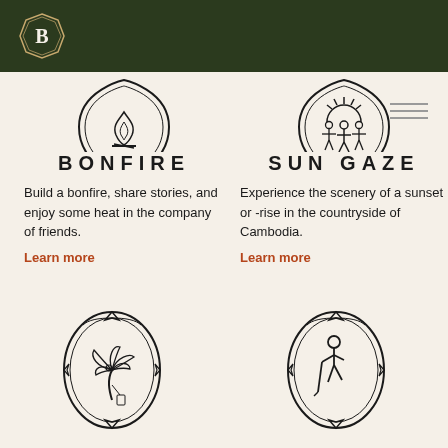B (logo badge)
[Figure (illustration): Shield-shaped badge icon with flame/bonfire symbol inside decorative border]
BONFIRE
Build a bonfire, share stories, and enjoy some heat in the company of friends.
Learn more
[Figure (illustration): Shield-shaped badge icon with sun and people silhouettes symbol inside decorative border]
SUN GAZE
Experience the scenery of a sunset or -rise in the countryside of Cambodia.
Learn more
[Figure (illustration): Oval decorative badge with palm tree icon inside]
PICK
[Figure (illustration): Oval decorative badge with hiker figure icon inside]
HIKE